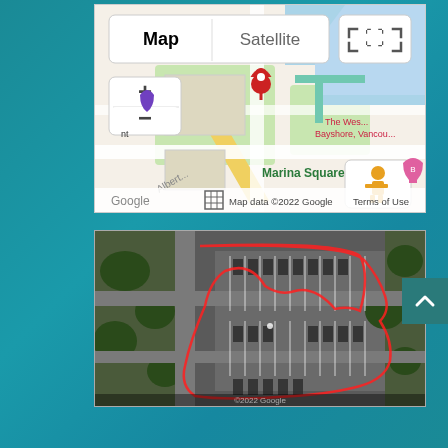[Figure (map): Google Maps view showing Map/Satellite toggle buttons, zoom controls (+/-), a red location pin marker, streets around Marina Square area in Vancouver (The Westin Bayshore), with a street view human icon and fullscreen button. Map data ©2022 Google, Terms of Use shown at bottom.]
[Figure (photo): Aerial/satellite view of a parking lot with a red outline drawn around a section, showing parked cars, trees, and paved areas. Appears to be in Vancouver near the waterfront area.]